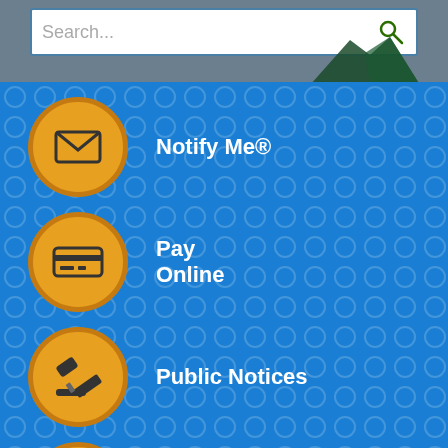[Figure (screenshot): Government website screenshot showing search bar at top with gray background and mountain scenery, followed by blue background with four navigation menu items each featuring a gold circle icon and white text label]
Notify Me®
Pay Online
Public Notices
View Meetings